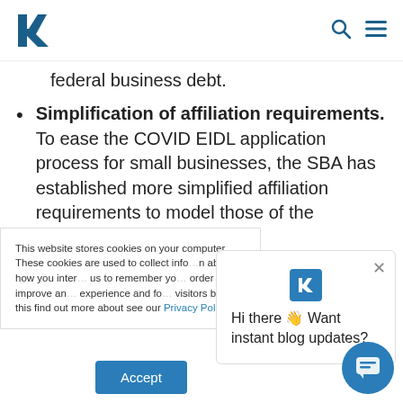R [logo] [search icon] [menu icon]
federal business debt.
Simplification of affiliation requirements. To ease the COVID EIDL application process for small businesses, the SBA has established more simplified affiliation requirements to model those of the Restaurant
This website stores cookies on your computer. These cookies are used to collect information about how you interact with us to remember you in order to improve and experience and for visitors both on this find out more about see our Privacy Policy.
Hi there 👋 Want instant blog updates?
Accept